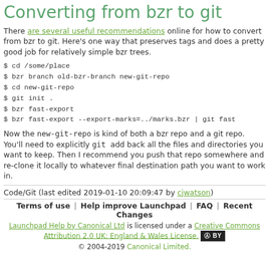Converting from bzr to git
There are several useful recommendations online for how to convert from bzr to git. Here's one way that preserves tags and does a pretty good job for relatively simple bzr trees.
$ cd /some/place
$ bzr branch old-bzr-branch new-git-repo
$ cd new-git-repo
$ git init .
$ bzr fast-export
$ bzr fast-export --export-marks=../marks.bzr | git fast
Now the new-git-repo is kind of both a bzr repo and a git repo. You'll need to explicitly git add back all the files and directories you want to keep. Then I recommend you push that repo somewhere and re-clone it locally to whatever final destination path you want to work in.
Code/Git (last edited 2019-01-10 20:09:47 by cjwatson)
Terms of use | Help improve Launchpad | FAQ | Recent Changes
Launchpad Help by Canonical Ltd is licensed under a Creative Commons Attribution 2.0 UK: England & Wales License. [cc] BY
© 2004-2019 Canonical Limited.